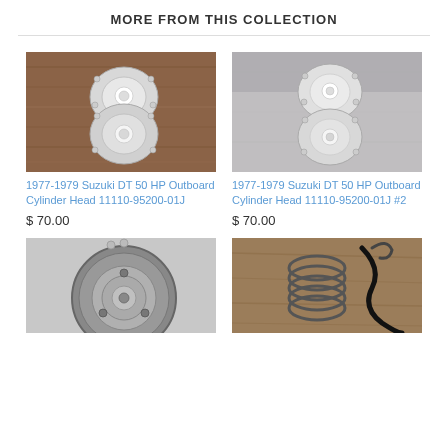MORE FROM THIS COLLECTION
[Figure (photo): Top view of a Suzuki DT 50 HP Outboard Cylinder Head 11110-95200-01J on a wooden surface]
1977-1979 Suzuki DT 50 HP Outboard Cylinder Head 11110-95200-01J
$ 70.00
[Figure (photo): Top view of a Suzuki DT 50 HP Outboard Cylinder Head 11110-95200-01J #2 on a grey surface]
1977-1979 Suzuki DT 50 HP Outboard Cylinder Head 11110-95200-01J #2
$ 70.00
[Figure (photo): Circular mechanical part, outboard engine flywheel or rotor viewed from above]
[Figure (photo): A metal spring coil and black wire/cable on a wooden surface]